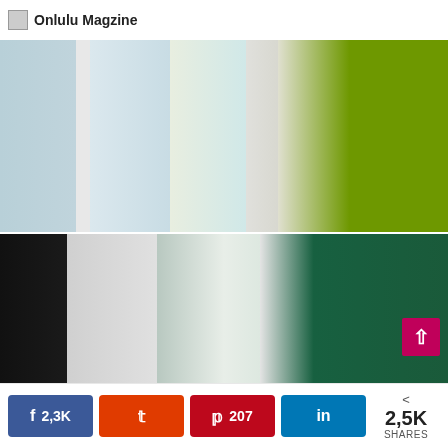Onlulu Magzine
[Figure (photo): Modern kitchen interior with two red metal bar stools, herringbone parquet floor, bookshelf in background, large window, and lime green cabinetry on the right.]
[Figure (photo): Contemporary kitchen with dark chalkboard walls, white modular cabinetry, green glass backsplash, and kitchen island with wooden countertop.]
2,3K  207  2,5K SHARES